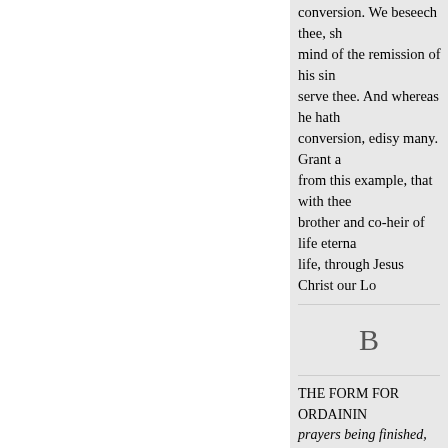conversion. We beseech thee, sh mind of the remission of his sin serve thee. And whereas he hath conversion, edisy many. Grant a from this example, that with thee brother and co-heir of life eterna life, through Jesus Christ our Lo
B
THE FORM FOR ORDAININ prayers being finished, the Minis speak to the congregation. ELO
have now at three different time any person had aught to offer co ministry of the word. And wher against his person, we shall the which purpose, you N. and all t from the word of God, touching where, in the first place you are church from amongst
« Previous